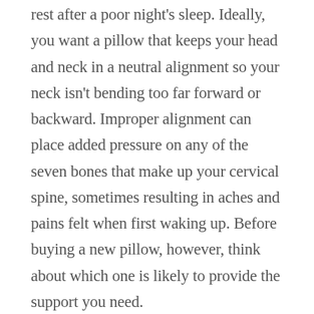rest after a poor night's sleep. Ideally, you want a pillow that keeps your head and neck in a neutral alignment so your neck isn't bending too far forward or backward. Improper alignment can place added pressure on any of the seven bones that make up your cervical spine, sometimes resulting in aches and pains felt when first waking up. Before buying a new pillow, however, think about which one is likely to provide the support you need.
CONSIDER YOUR SLEEP POSITION
Get started by considering your sleep position. If you're a side sleeper, select a pillow that provides support between your ear and the mattress. If you're a back sleeper, pick a pillow that will prevent your head